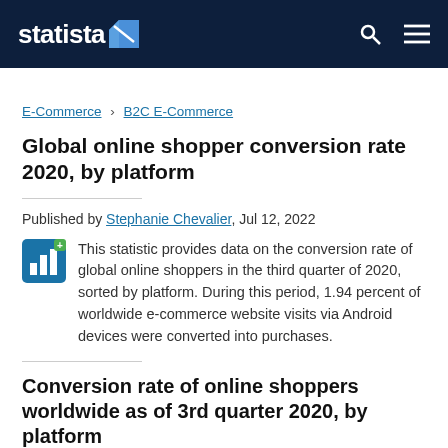statista
E-Commerce › B2C E-Commerce
Global online shopper conversion rate 2020, by platform
Published by Stephanie Chevalier, Jul 12, 2022
This statistic provides data on the conversion rate of global online shoppers in the third quarter of 2020, sorted by platform. During this period, 1.94 percent of worldwide e-commerce website visits via Android devices were converted into purchases.
Conversion rate of online shoppers worldwide as of 3rd quarter 2020, by platform